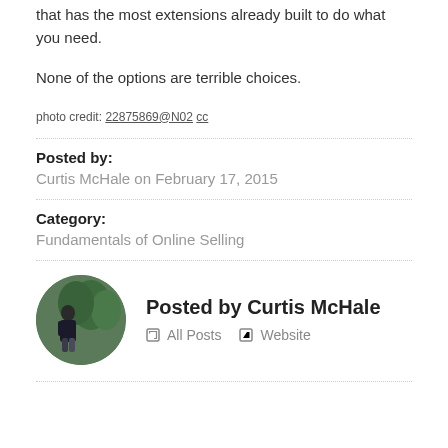that has the most extensions already built to do what you need.
None of the options are terrible choices.
photo credit: 22875869@N02 cc
Posted by:
Curtis McHale on February 17, 2015
Category:
Fundamentals of Online Selling
Posted by Curtis McHale
All Posts   Website